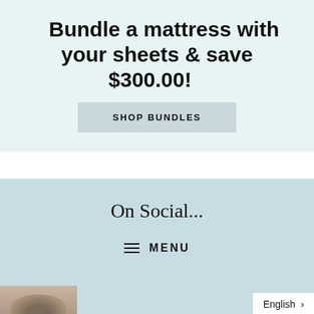Bundle a mattress with your sheets & save $300.00!
SHOP BUNDLES
On Social...
≡ MENU
English >